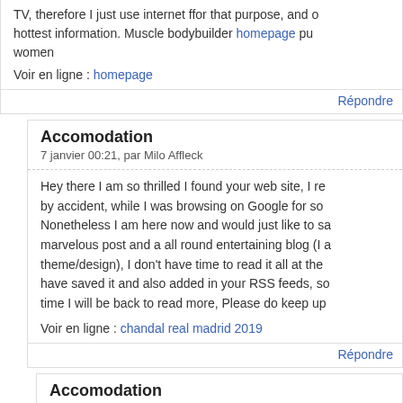TV, therefore I just use internet ffor that purpose, and obtain the hottest information. Muscle bodybuilder homepage pu... women
Voir en ligne : homepage
Répondre
Accomodation
7 janvier 00:21, par Milo Affleck
Hey there I am so thrilled I found your web site, I re... by accident, while I was browsing on Google for so... Nonetheless I am here now and would just like to sa... marvelous post and a all round entertaining blog (I a... theme/design), I don't have time to read it all at the... have saved it and also added in your RSS feeds, so... time I will be back to read more, Please do keep up
Voir en ligne : chandal real madrid 2019
Répondre
Accomodation
22 février 05:44, par Federico
Informative article, exactly what I needed.
Voir en ligne : ????